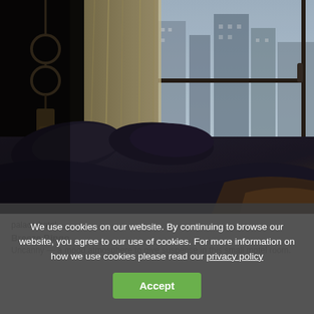[Figure (photo): Hotel room with unmade dark blue/grey bedding and pillows, large window with curtains showing city skyline view, moody lighting]
We use cookies on our website. By continuing to browse our website, you agree to our use of cookies. For more information on how we use cookies please read our privacy policy
Accept